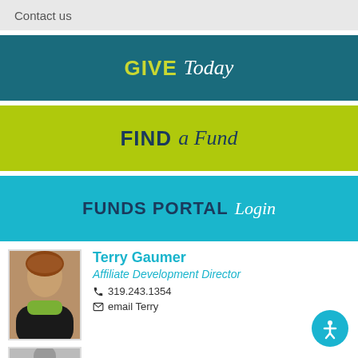Contact us
[Figure (infographic): GIVE Today banner — dark teal background with 'GIVE' in bold yellow-green and 'Today' in white italic]
[Figure (infographic): FIND a Fund banner — lime green background with 'FIND' in bold navy and 'a Fund' in navy italic]
[Figure (infographic): FUNDS PORTAL Login banner — bright teal/turquoise background with 'FUNDS PORTAL' in bold navy and 'Login' in white italic]
[Figure (photo): Headshot of Terry Gaumer, a woman with reddish-brown hair and a green scarf, wearing dark clothing]
Terry Gaumer
Affiliate Development Director
319.243.1354
email Terry